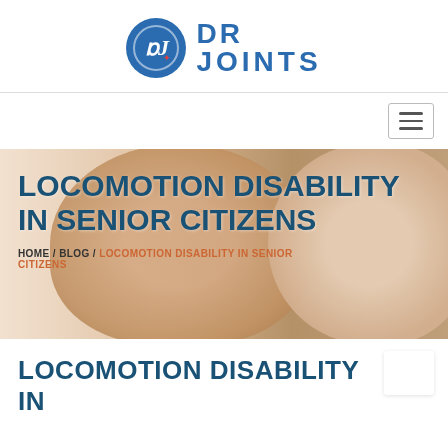[Figure (logo): Dr Joints logo with blue circle containing stylized DJ letters and red star, with 'DR JOINTS' text in blue]
[Figure (other): Navigation hamburger menu icon]
[Figure (photo): Hero banner photo of an elderly woman and a younger female healthcare worker smiling, with text overlay]
LOCOMOTION DISABILITY IN SENIOR CITIZENS
HOME / BLOG / LOCOMOTION DISABILITY IN SENIOR CITIZENS
LOCOMOTION DISABILITY IN